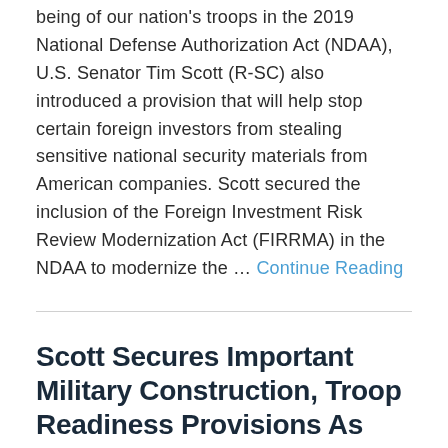being of our nation's troops in the 2019 National Defense Authorization Act (NDAA), U.S. Senator Tim Scott (R-SC) also introduced a provision that will help stop certain foreign investors from stealing sensitive national security materials from American companies. Scott secured the inclusion of the Foreign Investment Risk Review Modernization Act (FIRRMA) in the NDAA to modernize the … Continue Reading
Scott Secures Important Military Construction, Troop Readiness Provisions As Defense Authorization Passes Committee
THURSDAY | MAY 24, 2018